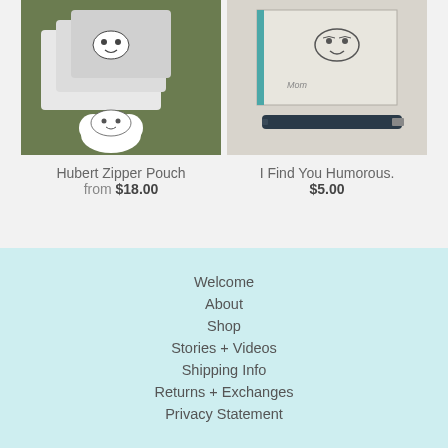[Figure (photo): Hubert Zipper Pouch product photo showing zipper pouches with cartoon face prints on green grass background]
Hubert Zipper Pouch
from $18.00
[Figure (photo): I Find You Humorous product photo showing a notebook and pen on light background]
I Find You Humorous.
$5.00
Welcome
About
Shop
Stories + Videos
Shipping Info
Returns + Exchanges
Privacy Statement